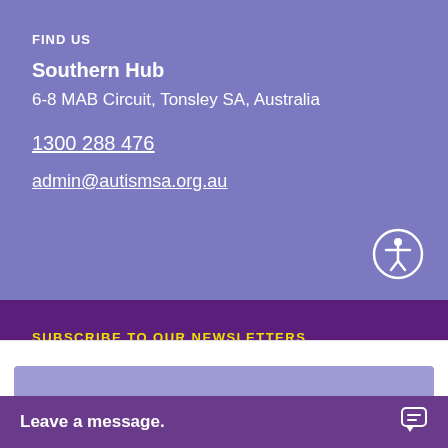FIND US
Southern Hub
6-8 MAB Circuit, Tonsley SA, Australia
1300 288 476
admin@autismsa.org.au
[Figure (illustration): Accessibility icon — white circle outline with a human figure icon inside, on purple/lavender background]
SUBSCRIBE TO OUR NEWSLETTERS
This website uses cookies to ensure you get the best experience.
Privacy Policy
Okay
Leave a message.